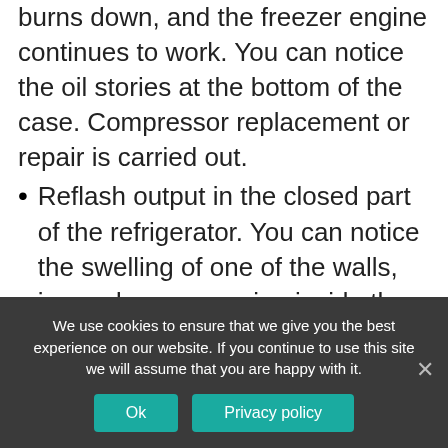burns down, and the freezer engine continues to work. You can notice the oil stories at the bottom of the case. Compressor replacement or repair is carried out.
Reflash output in the closed part of the refrigerator. You can notice the swelling of one of the walls, ice and snow growing inside the camera. The master reveals the sealed part, finds the place of breakdown and eliminates the leak. Then he refuels the system with freon. Sometimes a replacement of the evaporator is required.
Gas leak through microcracks in the steel case. As a result, the canvas of the drainage system of moisture drops fall into the circuit, which leads to corrosion. The refrigerant begins to flow out. Pruning and spike of the
We use cookies to ensure that we give you the best experience on our website. If you continue to use this site we will assume that you are happy with it.